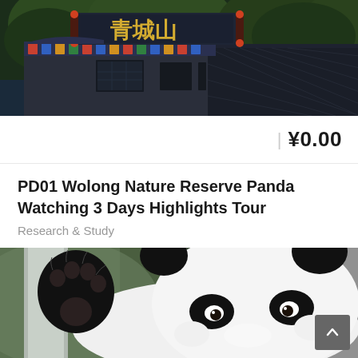[Figure (photo): Photo of a traditional Chinese temple/pavilion with decorative roof, colorful carvings, and Chinese characters in gold reading 青城山 on the sign overhead, surrounded by green trees and dark tiled rooftop]
| ¥0.00
PD01 Wolong Nature Reserve Panda Watching 3 Days Highlights Tour
Research & Study
[Figure (photo): Close-up photo of a giant panda cub resting its head and raising one paw, showing black and white fur, against a blurred green and gray background]